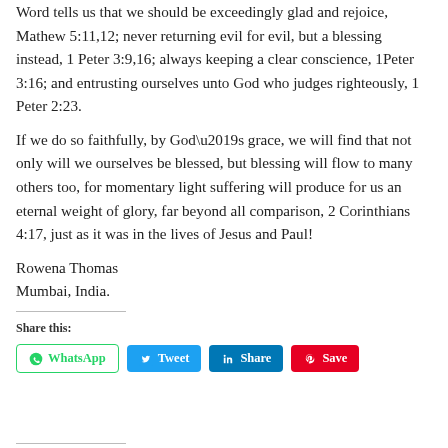Word tells us that we should be exceedingly glad and rejoice, Mathew 5:11,12; never returning evil for evil, but a blessing instead, 1 Peter 3:9,16; always keeping a clear conscience, 1Peter 3:16; and entrusting ourselves unto God who judges righteously, 1 Peter 2:23.
If we do so faithfully, by God’s grace, we will find that not only will we ourselves be blessed, but blessing will flow to many others too, for momentary light suffering will produce for us an eternal weight of glory, far beyond all comparison, 2 Corinthians 4:17, just as it was in the lives of Jesus and Paul!
Rowena Thomas
Mumbai, India.
Share this:
[Figure (other): Social share buttons: WhatsApp, Tweet, Share (LinkedIn), Save (Pinterest)]